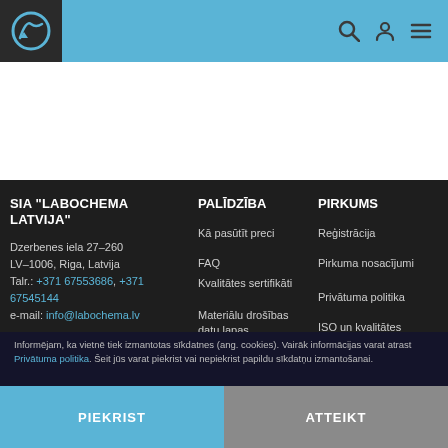[Figure (logo): Website header with blue background, logo icon on dark square at left, and search/user/menu icons at right]
SIA "LABOCHEMA LATVIJA"
Dzerbenes iela 27–260
LV–1006, Riga, Latvija
Talr.: +371 67553686, +371 67545144
e-mail: info@labochema.lv
PALĪDZĪBA
Kā pasūtīt preci
FAQ
Kvalitātes sertifikāti
Materiālu drošības datu lapas
PIRKUMS
Reģistrācija
Pirkuma nosacījumi
Privātuma politika
ISO un kvalitātes kontrole
Informējam, ka vietnē tiek izmantotas sīkdatnes (ang. cookies). Vairāk informācijas varat atrast Privātuma politika. Šeit jūs varat piekrist vai nepiekrist papildu sīkdatņu izmantošanai.
PIEKRIST
ATTEIKT